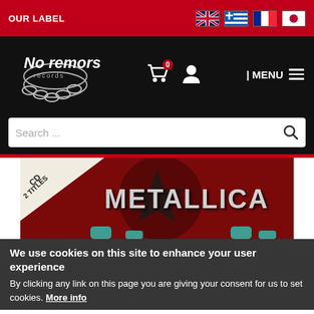OUR LABEL
[Figure (screenshot): No Remorse Records logo with chain graphic on black background]
[Figure (screenshot): Search bar with magnifying glass icon]
[Figure (photo): Metallica CD album cover with text 'CD 2 TITLES' in top-left corner and 'METALLICA' in large text, dark red background]
We use cookies on this site to enhance your user experience
By clicking any link on this page you are giving your consent for us to set cookies. More info